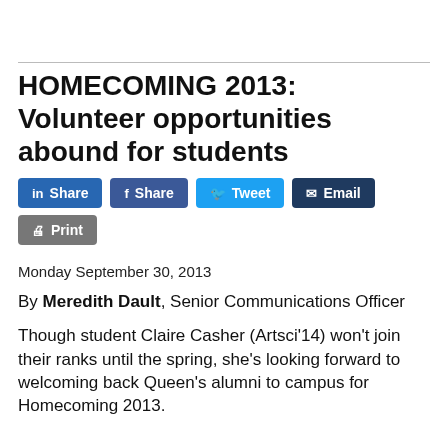HOMECOMING 2013: Volunteer opportunities abound for students
Monday September 30, 2013
By Meredith Dault, Senior Communications Officer
Though student Claire Casher (Artsci’14) won’t join their ranks until the spring, she’s looking forward to welcoming back Queen’s alumni to campus for Homecoming 2013.